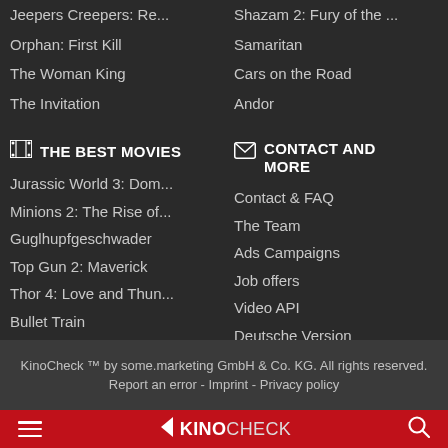Jeepers Creepers: Re...
Orphan: First Kill
The Woman King
The Invitation
Shazam 2: Fury of the ...
Samaritan
Cars on the Road
Andor
THE BEST MOVIES
Jurassic World 3: Dom...
Minions 2: The Rise of...
Guglhupfgeschwader
Top Gun 2: Maverick
Thor 4: Love and Thun...
Bullet Train
CONTACT AND MORE
Contact & FAQ
The Team
Ads Campaigns
Job offers
Video API
Deutsche Version
KinoCheck ™ by some.marketing GmbH & Co. KG. All rights reserved. Report an error - Imprint - Privacy policy
[Figure (logo): KinoCheck logo with red navigation bar, hamburger menu, chevron logo mark, KINOCHECK text, and search icon]